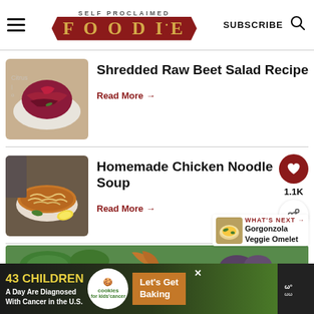SELF PROCLAIMED FOODIE — SUBSCRIBE
Shredded Raw Beet Salad Recipe
Read More →
Homemade Chicken Noodle Soup
Read More →
WHAT'S NEXT → Gorgonzola Veggie Omelet
[Figure (photo): Shredded raw beet salad in a white bowl]
[Figure (photo): Homemade chicken noodle soup in a white bowl with lemon]
[Figure (photo): Partial view of a third recipe with spinach and vegetables]
[Figure (photo): Small thumbnail of Gorgonzola Veggie Omelet]
43 CHILDREN A Day Are Diagnosed With Cancer in the U.S. — Let's Get Baking